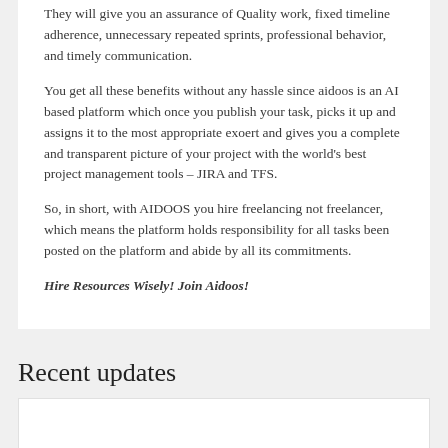They will give you an assurance of Quality work, fixed timeline adherence, unnecessary repeated sprints, professional behavior, and timely communication.
You get all these benefits without any hassle since aidoos is an AI based platform which once you publish your task, picks it up and assigns it to the most appropriate exoert and gives you a complete and transparent picture of your project with the world's best project management tools – JIRA and TFS.
So, in short, with AIDOOS you hire freelancing not freelancer, which means the platform holds responsibility for all tasks been posted on the platform and abide by all its commitments.
Hire Resources Wisely! Join Aidoos!
Recent updates